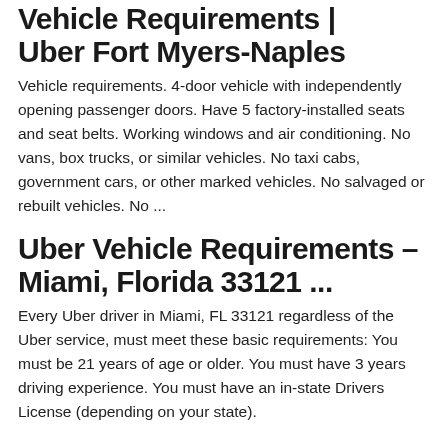Vehicle Requirements | Uber Fort Myers-Naples
Vehicle requirements. 4-door vehicle with independently opening passenger doors. Have 5 factory-installed seats and seat belts. Working windows and air conditioning. No vans, box trucks, or similar vehicles. No taxi cabs, government cars, or other marked vehicles. No salvaged or rebuilt vehicles. No ...
Uber Vehicle Requirements – Miami, Florida 33121 ...
Every Uber driver in Miami, FL 33121 regardless of the Uber service, must meet these basic requirements: You must be 21 years of age or older. You must have 3 years driving experience. You must have an in-state Drivers License (depending on your state).